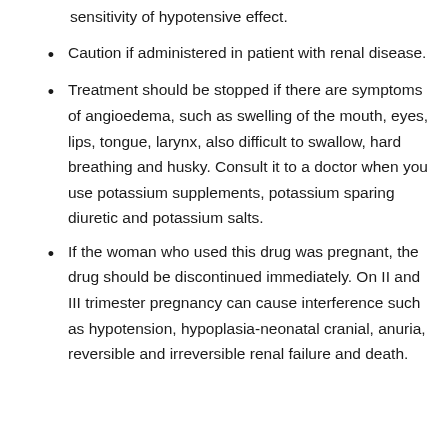sensitivity of hypotensive effect.
Caution if administered in patient with renal disease.
Treatment should be stopped if there are symptoms of angioedema, such as swelling of the mouth, eyes, lips, tongue, larynx, also difficult to swallow, hard breathing and husky. Consult it to a doctor when you use potassium supplements, potassium sparing diuretic and potassium salts.
If the woman who used this drug was pregnant, the drug should be discontinued immediately. On II and III trimester pregnancy can cause interference such as hypotension, hypoplasia-neonatal cranial, anuria, reversible and irreversible renal failure and death.